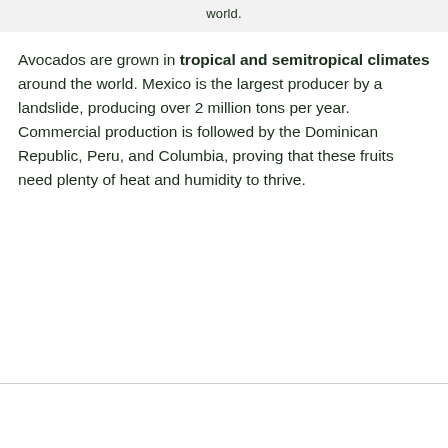world.
Avocados are grown in tropical and semitropical climates around the world. Mexico is the largest producer by a landslide, producing over 2 million tons per year. Commercial production is followed by the Dominican Republic, Peru, and Columbia, proving that these fruits need plenty of heat and humidity to thrive.